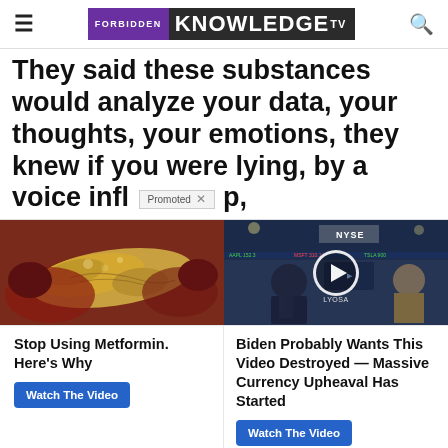FORBIDDEN KNOWLEDGE TV
They said these substances would analyze your data, your thoughts, your emotions, they knew if you were lying, by a voice infl...p,
[Figure (screenshot): Two promotional ad thumbnails side by side: left shows close-up of internal organ/pancreas image; right shows a man in a suit at a stock trading floor with NYSE visible and a video play button overlay]
Stop Using Metformin. Here's Why
Biden Probably Wants This Video Destroyed — Massive Currency Upheaval Has Started